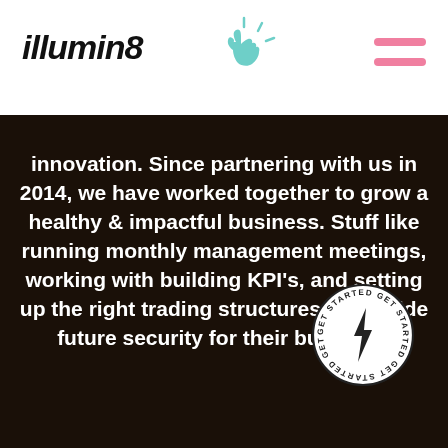illumin8
innovation. Since partnering with us in 2014, we have worked together to grow a healthy & impactful business. Stuff like running monthly management meetings, working with building KPI's, and setting up the right trading structures to provide future security for their business.
[Figure (logo): Circular stamp badge reading GET STARTED repeatedly around the edge with a lightning bolt in the center]